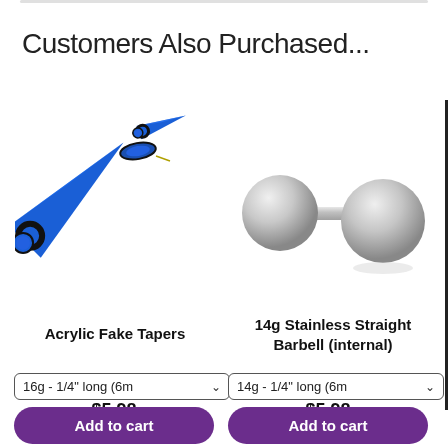Customers Also Purchased...
[Figure (photo): Blue acrylic fake taper earrings - two cone-shaped tapers with black O-rings and flat disc backs]
[Figure (photo): 14g stainless steel straight barbell with two silver balls on each end]
Acrylic Fake Tapers
14g Stainless Straight Barbell (internal)
16g - 1/4" long (6m
14g - 1/4" long (6m
$5.98
$5.98
Add to cart
Add to cart